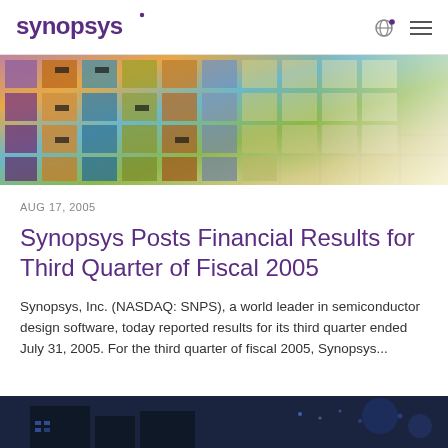SYNOPSYS
[Figure (photo): Aerial/close-up view of colorful semiconductor chip wafer with multicolored circuit blocks]
AUG 17, 2005
Synopsys Posts Financial Results for Third Quarter of Fiscal 2005
Synopsys, Inc. (NASDAQ: SNPS), a world leader in semiconductor design software, today reported results for its third quarter ended July 31, 2005. For the third quarter of fiscal 2005, Synopsys...
[Figure (photo): Dark image of what appears to be a data center or technology facility, partially visible at bottom of page]